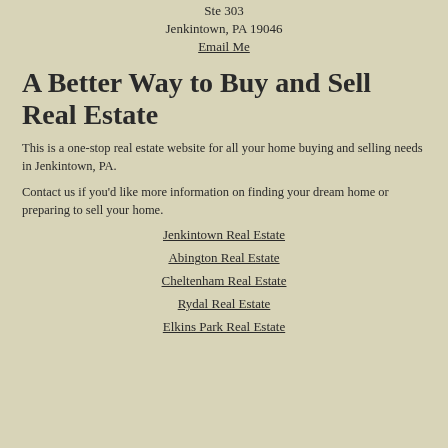Ste 303
Jenkintown, PA 19046
Email Me
A Better Way to Buy and Sell Real Estate
This is a one-stop real estate website for all your home buying and selling needs in Jenkintown, PA.
Contact us if you'd like more information on finding your dream home or preparing to sell your home.
Jenkintown Real Estate
Abington Real Estate
Cheltenham Real Estate
Rydal Real Estate
Elkins Park Real Estate